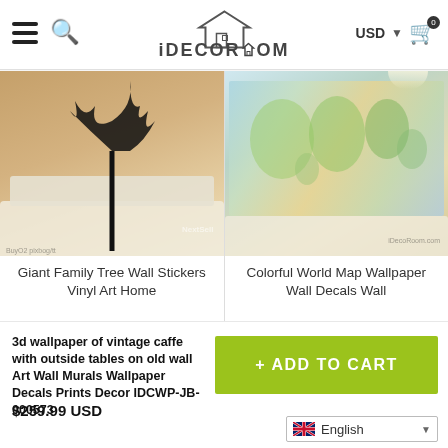iDECOROOM — USD — Cart (0)
[Figure (photo): Giant Family Tree wall sticker on a living room wall with sofa and pillows]
[Figure (photo): Colorful World Map wallpaper wall mural in a living room setting]
Giant Family Tree Wall Stickers Vinyl Art Home
Colorful World Map Wallpaper Wall Decals Wall
3d wallpaper of vintage caffe with outside tables on old wall Art Wall Murals Wallpaper Decals Prints Decor IDCWP-JB-000573
$259.99 USD
+ ADD TO CART